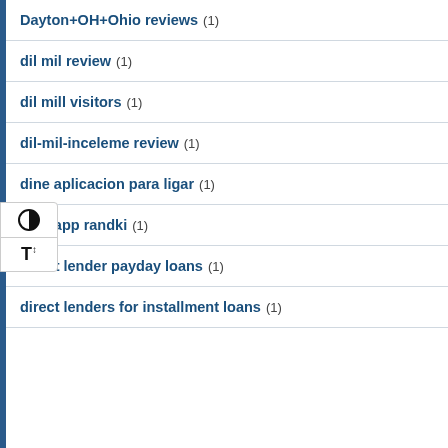Dayton+OH+Ohio reviews (1)
dil mil review (1)
dil mill visitors (1)
dil-mil-inceleme review (1)
dine aplicacion para ligar (1)
dine app randki (1)
direct lender payday loans (1)
direct lenders for installment loans (1)